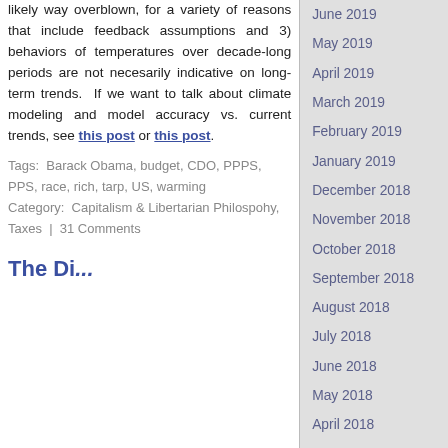likely way overblown, for a variety of reasons that include feedback assumptions and 3) behaviors of temperatures over decade-long periods are not necesarily indicative on long-term trends. If we want to talk about climate modeling and model accuracy vs. current trends, see this post or this post.
Tags: Barack Obama, budget, CDO, PPPS, PPS, race, rich, tarp, US, warming Category: Capitalism & Libertarian Philospohy, Taxes | 31 Comments
The Di...
June 2019
May 2019
April 2019
March 2019
February 2019
January 2019
December 2018
November 2018
October 2018
September 2018
August 2018
July 2018
June 2018
May 2018
April 2018
March 2018
February 2018
January 2018
December 2017
November 2017
October 2017